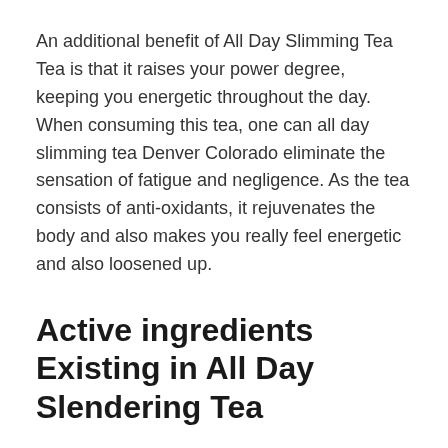An additional benefit of All Day Slimming Tea Tea is that it raises your power degree, keeping you energetic throughout the day. When consuming this tea, one can all day slimming tea Denver Colorado eliminate the sensation of fatigue and negligence. As the tea consists of anti-oxidants, it rejuvenates the body and also makes you really feel energetic and also loosened up.
Active ingredients Existing in All Day Slendering Tea
Components utilized in All Day Slendering Tea are confirmed to be efficient in weight-loss. The adhering to are the components present in the